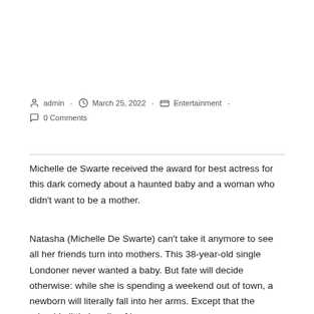admin  -  March 25, 2022  -  Entertainment  -  0 Comments
Michelle de Swarte received the award for best actress for this dark comedy about a haunted baby and a woman who didn't want to be a mother.
Natasha (Michelle De Swarte) can't take it anymore to see all her friends turn into mothers. This 38-year-old single Londoner never wanted a baby. But fate will decide otherwise: while she is spending a weekend out of town, a newborn will literally fall into her arms. Except that the adorable little bundle of joy seems...